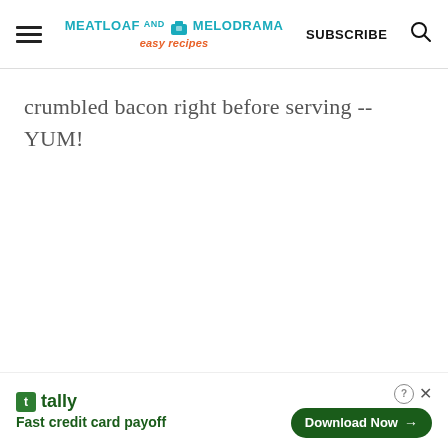MEATLOAF AND MELODRAMA easy recipes | SUBSCRIBE
crumbled bacon right before serving -- YUM!
[Figure (screenshot): Tally advertisement banner with logo, tagline 'Fast credit card payoff', and 'Download Now' button]